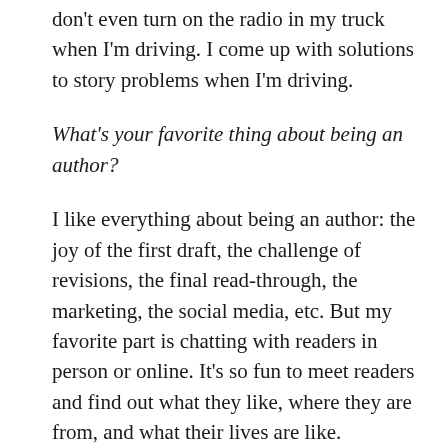don't even turn on the radio in my truck when I'm driving. I come up with solutions to story problems when I'm driving.
What's your favorite thing about being an author?
I like everything about being an author: the joy of the first draft, the challenge of revisions, the final read-through, the marketing, the social media, etc. But my favorite part is chatting with readers in person or online. It's so fun to meet readers and find out what they like, where they are from, and what their lives are like.
What's your latest news?
My latest book just released yesterday! It's Eden